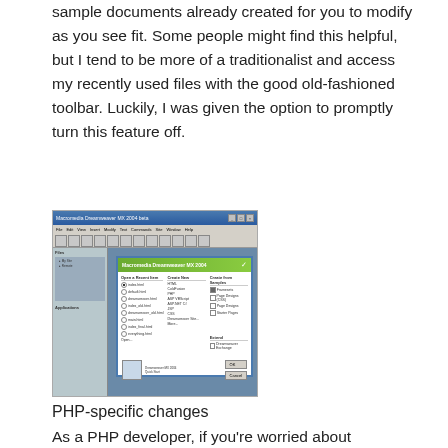sample documents already created for you to modify as you see fit. Some people might find this helpful, but I tend to be more of a traditionalist and access my recently used files with the good old-fashioned toolbar. Luckily, I was given the option to promptly turn this feature off.
[Figure (screenshot): Screenshot of Macromedia Dreamweaver MX 2004 welcome screen dialog showing options for recent files, create new, and create from samples panels.]
PHP-specific changes
As a PHP developer, if you're worried about Dreamweaver MX 2004 putting you out of business because people